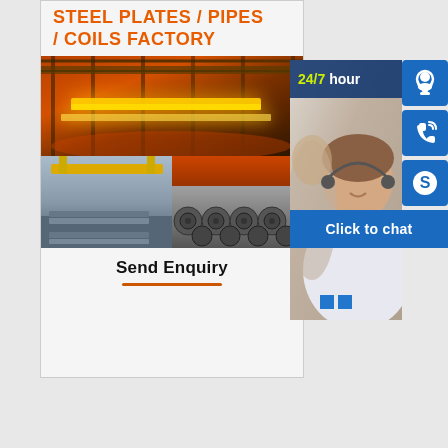STEEL PLATES / PIPES / COILS FACTORY
[Figure (photo): Industrial steel factory with glowing hot steel beam being processed, overhead crane visible]
[Figure (photo): Two bottom photos: left shows stacked steel plates, right shows rolled steel coils in a warehouse]
Send Enquiry
[Figure (photo): Customer service representative smiling, wearing headset, with 24/7 hour label and blue icons for headset, phone, and Skype, plus Click to chat button]